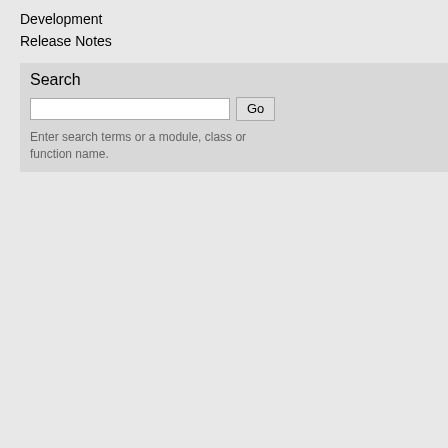Development
Release Notes
Search
Enter search terms or a module, class or function name.
[Figure (screenshot): Code block showing df.notna() output with age and born columns, rows 0-2 with True/False values]
Show which entries are not NA.
[Figure (screenshot): Code block showing ser = pd.S, ser output with values 5.0, 6.0, NaN, dtype: float64]
Scroll To Top
[Figure (screenshot): Code block showing ser.notna() output with True, True, False values]